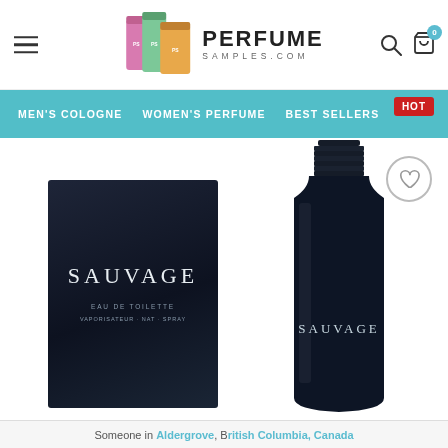[Figure (screenshot): PerfumeSamples.com website header with logo showing perfume bottles, hamburger menu icon, search icon, and cart icon with badge showing 0]
[Figure (screenshot): Navigation bar with teal background showing MEN'S COLOGNE, WOMEN'S PERFUME, BEST SELLERS links and a HOT red badge]
[Figure (photo): Dior Sauvage Eau de Toilette product showing dark navy box with SAUVAGE text and the dark bottle side by side]
Someone in Aldergrove, British Columbia, Canada